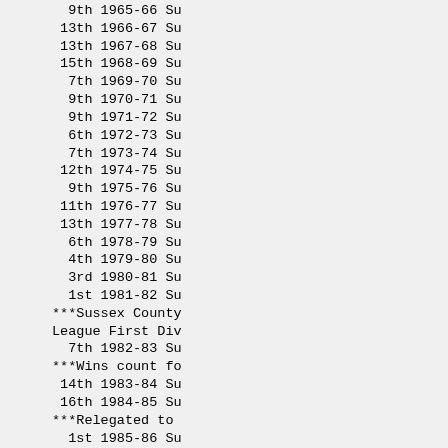9th 1965-66 Su
13th 1966-67 Su
13th 1967-68 Su
15th 1968-69 Su
 7th 1969-70 Su
 9th 1970-71 Su
 9th 1971-72 Su
 6th 1972-73 Su
 7th 1973-74 Su
12th 1974-75 Su
 9th 1975-76 Su
11th 1976-77 Su
13th 1977-78 Su
 6th 1978-79 Su
 4th 1979-80 Su
 3rd 1980-81 Su
 1st 1981-82 Su
***Sussex County
League First Div
 7th 1982-83 Su
***Wins count fo
14th 1983-84 Su
16th 1984-85 Su
***Relegated to
 1st 1985-86 Su
***Sussex County
County League Fi
 9th 1986-87 Su
 3rd 1987-88 Su
 6th 1988-89 Su
 1st 1989-90 Su
***Sussex County